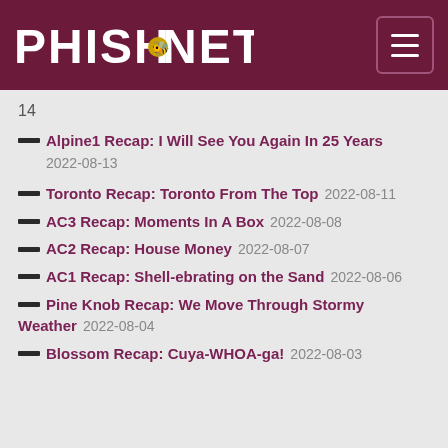PHISH.NET
14
Alpine1 Recap: I Will See You Again In 25 Years 2022-08-13
Toronto Recap: Toronto From The Top 2022-08-11
AC3 Recap: Moments In A Box 2022-08-08
AC2 Recap: House Money 2022-08-07
AC1 Recap: Shell-ebrating on the Sand 2022-08-06
Pine Knob Recap: We Move Through Stormy Weather 2022-08-04
Blossom Recap: Cuya-WHOA-ga! 2022-08-03